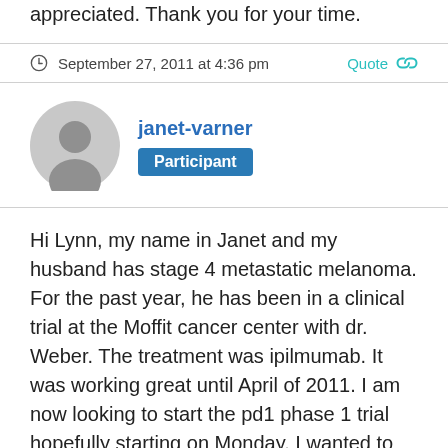If so, what are they? Any information you have would be appreciated. Thank you for your time.
September 27, 2011 at 4:36 pm
Quote
janet-varner
Participant
Hi Lynn, my name in Janet and my husband has stage 4 metastatic melanoma. For the past year, he has been in a clinical trial at the Moffit cancer center with dr. Weber. The treatment was ipilmumab. It was working great until April of 2011. I am now looking to start the pd1 phase 1 trial hopefully starting on Monday. I wanted to know how it has been going for you on this trial. Are there any side effects? If so, what are they? Any information you have would be appreciated. Thank you for your time.